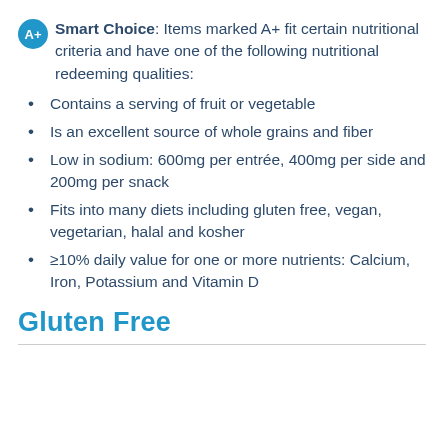A+ Smart Choice: Items marked A+ fit certain nutritional criteria and have one of the following nutritional redeeming qualities:
Contains a serving of fruit or vegetable
Is an excellent source of whole grains and fiber
Low in sodium: 600mg per entrée, 400mg per side and 200mg per snack
Fits into many diets including gluten free, vegan, vegetarian, halal and kosher
≥10% daily value for one or more nutrients: Calcium, Iron, Potassium and Vitamin D
Gluten Free